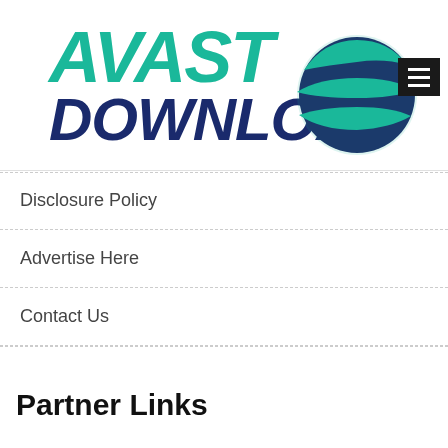[Figure (logo): Avast Download logo with stylized green italic text 'AVAST DOWNLOAD' and a circular globe graphic in teal and dark navy blue, with a hamburger menu button in the top right corner]
Disclosure Policy
Advertise Here
Contact Us
Partner Links